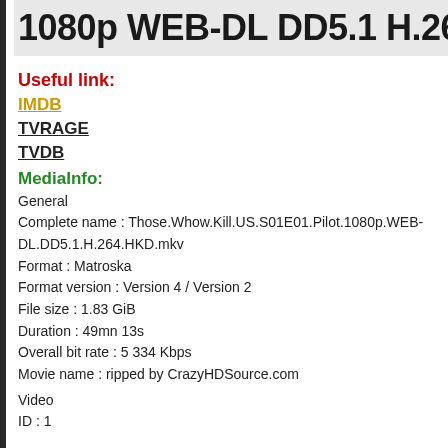1080p WEB-DL DD5.1 H.264 N
Useful link:
IMDB
TVRAGE
TVDB
MediaInfo:
General
Complete name : Those.Whow.Kill.US.S01E01.Pilot.1080p.WEB-DL.DD5.1.H.264.HKD.mkv
Format : Matroska
Format version : Version 4 / Version 2
File size : 1.83 GiB
Duration : 49mn 13s
Overall bit rate : 5 334 Kbps
Movie name : ripped by CrazyHDSource.com
Video
ID : 1